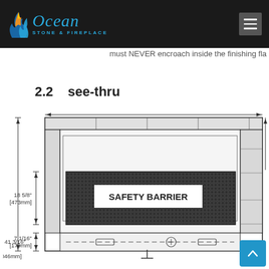Ocean Stone & Fireplace
must NEVER encroach inside the finishing fla
2.2   see-thru
[Figure (engineering-diagram): See-thru fireplace engineering diagram showing front elevation with safety barrier mesh panel. Dimensions labeled: 41 3/16" [1046mm] overall height, 18 5/8" [473mm] middle section height, 7 1/16" [179mm] bottom section height. Safety Barrier label in center of mesh panel. Dashed lines showing gas line and control at bottom.]